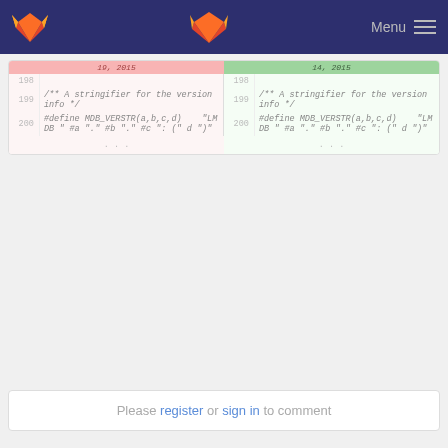GitLab Menu
[Figure (screenshot): Code diff view showing two columns: left (old) and right (new), both with line numbers 198-200 and ellipsis, displaying a C macro definition for MDB_VERSTR]
Please register or sign in to comment